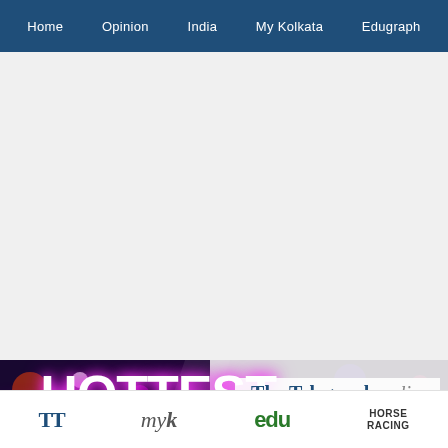Home  Opinion  India  My Kolkata  Edugraph
[Figure (screenshot): Gray empty content area placeholder]
[Figure (screenshot): Banner advertisement showing 'HOTTEST' text with bokeh lights background and 'The Telegraph online' branding]
TT  my K  edu  HORSE RACING